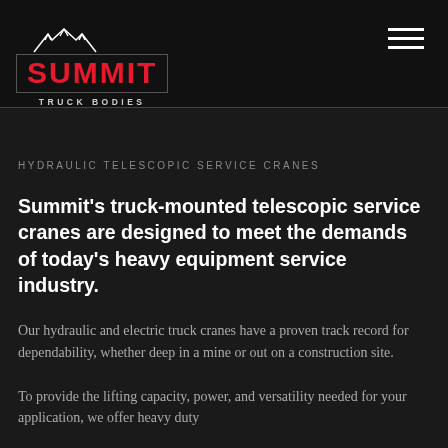[Figure (logo): Summit Truck Bodies logo with mountain/snowflake graphic above red SUMMIT text and TRUCK BODIES subtitle]
HYDRAULIC TELESCOPIC SERVICE CRANES
Summit’s truck-mounted telescopic service cranes are designed to meet the demands of today’s heavy equipment service industry.
Our hydraulic and electric truck cranes have a proven track record for dependability, whether deep in a mine or out on a construction site.
To provide the lifting capacity, power, and versatility needed for your application, we offer heavy duty